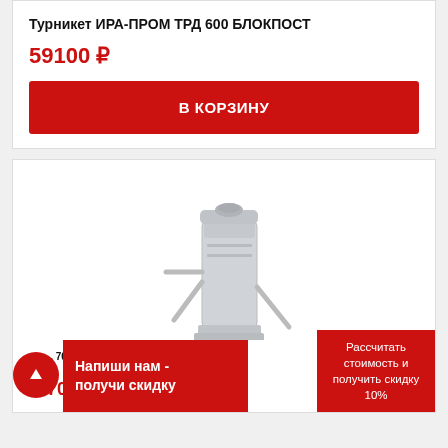Турникет ИРА-ПРОМ ТРД 600 БЛОКПОСТ
59100 ₽
В КОРЗИНУ
[Figure (photo): Turnstile product photo - tripod turnstile in light grey/silver color, standalone unit]
Турникет ИРА-ПРОМ ТРД 700 БЛОКПОСТ
64700 ₽
Напиши нам - получи скидку
Рассчитать стоимость и получить скидку 10%